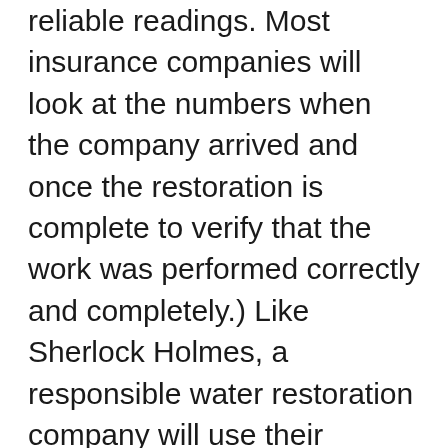reliable readings. Most insurance companies will look at the numbers when the company arrived and once the restoration is complete to verify that the work was performed correctly and completely.) Like Sherlock Holmes, a responsible water restoration company will use their Moisture Meter to test every possible area that either appears wet or could potentially be wet. The rule of thumb is to never assume that something is not wet; it is better to test now, then to have problems later!
Water can also travel into adjoining rooms. Many property owners and